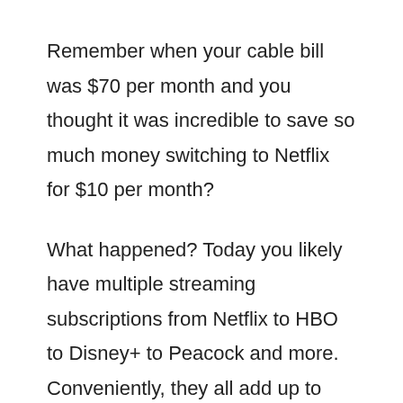Remember when your cable bill was $70 per month and you thought it was incredible to save so much money switching to Netflix for $10 per month?
What happened? Today you likely have multiple streaming subscriptions from Netflix to HBO to Disney+ to Peacock and more. Conveniently, they all add up to about the same $70 we were paying before...